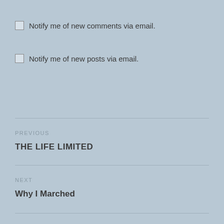Notify me of new comments via email.
Notify me of new posts via email.
PREVIOUS
THE LIFE LIMITED
NEXT
Why I Marched